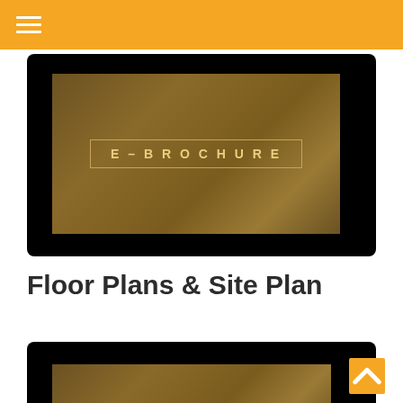Navigation bar with hamburger menu
[Figure (screenshot): E-Brochure cover image — dark brown leatherette textured background with 'E-BROCHURE' text in a bordered box, displayed inside a black card]
Floor Plans & Site Plan
[Figure (screenshot): Partially visible second E-Brochure card with dark brown textured background inside a black card]